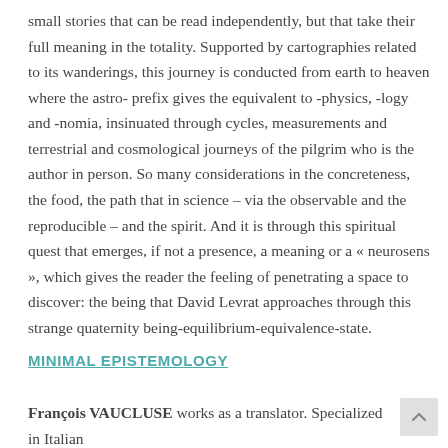small stories that can be read independently, but that take their full meaning in the totality. Supported by cartographies related to its wanderings, this journey is conducted from earth to heaven where the astro- prefix gives the equivalent to -physics, -logy and -nomia, insinuated through cycles, measurements and terrestrial and cosmological journeys of the pilgrim who is the author in person. So many considerations in the concreteness, the food, the path that in science – via the observable and the reproducible – and the spirit. And it is through this spiritual quest that emerges, if not a presence, a meaning or a « neurosens », which gives the reader the feeling of penetrating a space to discover: the being that David Levrat approaches through this strange quaternity being-equilibrium-equivalence-state.
MINIMAL EPISTEMOLOGY
François VAUCLUSE works as a translator. Specialized in Italian